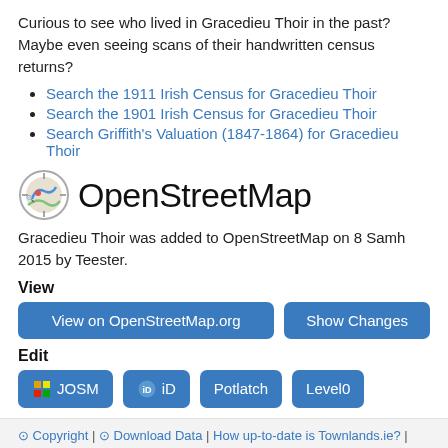Curious to see who lived in Gracedieu Thoir in the past? Maybe even seeing scans of their handwritten census returns?
Search the 1911 Irish Census for Gracedieu Thoir
Search the 1901 Irish Census for Gracedieu Thoir
Search Griffith's Valuation (1847-1864) for Gracedieu Thoir
OpenStreetMap
Gracedieu Thoir was added to OpenStreetMap on 8 Samh 2015 by Teester.
View
View on OpenStreetMap.org | Show Changes
Edit
JOSM | iD | Potlatch | Level0
© Copyright | ⊙ Download Data | How up-to-date is Townlands.ie? | Who's mapping townlands? | Townland mapping activity | ☰ Townland Index | Help add Logainm data to OSM | Maps | Last update: Aib. 24, 2022, 8:30 r.n.